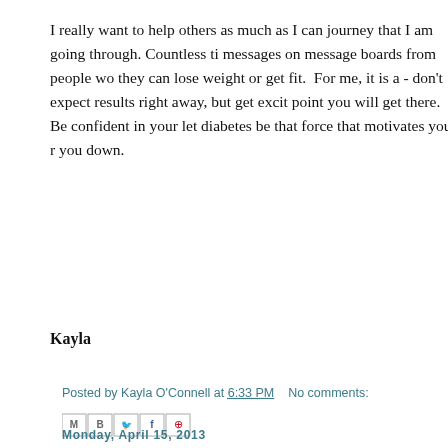I really want to help others as much as I can journey that I am going through. Countless ti messages on message boards from people wo they can lose weight or get fit. For me, it is a - don't expect results right away, but get exci point you will get there. Be confident in you let diabetes be that force that motivates you r you down.
Kayla
Posted by Kayla O'Connell at 6:33 PM   No comments:
[Figure (other): Social share buttons: Email (M), Blogger (B), Twitter bird, Facebook (f), Pinterest]
Monday, April 15, 2013